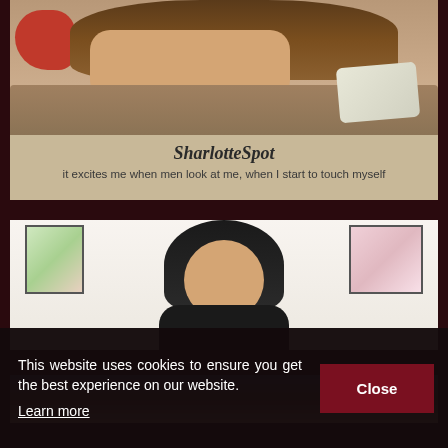[Figure (photo): Photo of a woman in a red top lying on a bed with pillows, looking at camera]
SharlotteSpot
it excites me when men look at me, when I start to touch myself
[Figure (photo): Photo of an Asian woman with dark hair touching her face, smiling, sitting in a room with framed pictures on the wall behind her]
[Figure (photo): Partial view of a third profile card at the bottom of the page]
This website uses cookies to ensure you get the best experience on our website.
Learn more
Close